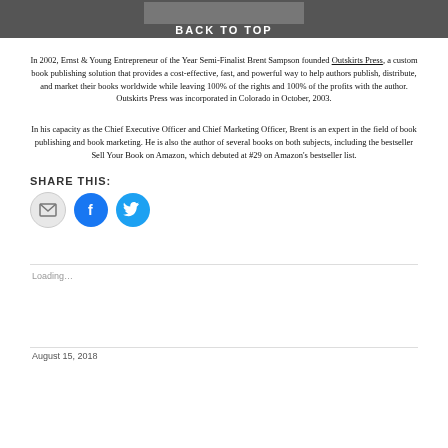BACK TO TOP
In 2002, Ernst & Young Entrepreneur of the Year Semi-Finalist Brent Sampson founded Outskirts Press, a custom book publishing solution that provides a cost-effective, fast, and powerful way to help authors publish, distribute, and market their books worldwide while leaving 100% of the rights and 100% of the profits with the author. Outskirts Press was incorporated in Colorado in October, 2003.
In his capacity as the Chief Executive Officer and Chief Marketing Officer, Brent is an expert in the field of book publishing and book marketing. He is also the author of several books on both subjects, including the bestseller Sell Your Book on Amazon, which debuted at #29 on Amazon's bestseller list.
SHARE THIS:
[Figure (illustration): Share icons: email (grey circle), Facebook (blue circle with f), Twitter (blue circle with bird)]
Loading...
August 15, 2018